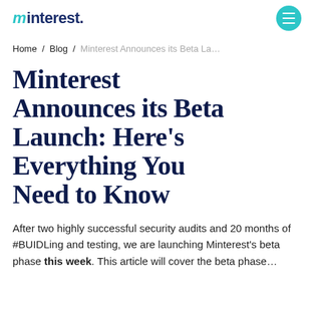minterest. [menu button]
Home / Blog / Minterest Announces its Beta La…
Minterest Announces its Beta Launch: Here's Everything You Need to Know
After two highly successful security audits and 20 months of #BUIDLing and testing, we are launching Minterest's beta phase this week. This article will cover the beta phase…